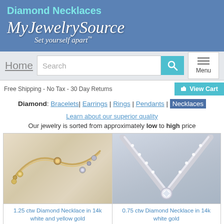Diamond Necklaces
[Figure (logo): MyJewelrySource logo with script text and tagline 'Set yourself apart']
[Figure (screenshot): Navigation bar with Home link, search box, and Menu button]
Free Shipping - No Tax - 30 Day Returns
Diamond: Bracelets| Earrings | Rings | Pendants | Necklaces
Learn about our superior quality
Our jewelry is sorted from approximately low to high price
[Figure (photo): 1.25 ctw Diamond Necklace in 14k white and yellow gold - close-up photo showing gold chain with diamond elements]
[Figure (photo): 0.75 ctw Diamond Necklace in 14k white gold - close-up photo showing V-shaped white gold necklace with diamonds]
1.25 ctw Diamond Necklace in 14k white and yellow gold
0.75 ctw Diamond Necklace in 14k white gold